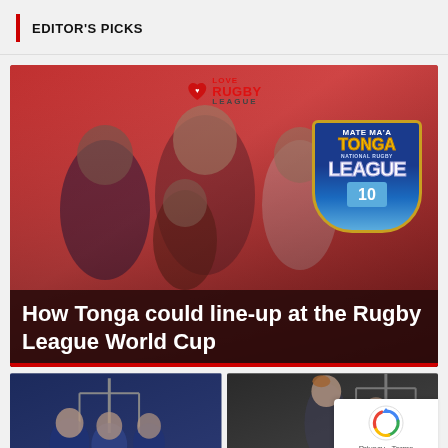EDITOR'S PICKS
[Figure (photo): Promotional image for Tonga Rugby League team featuring players and a coach against a red background, with the Mate Ma'a Tonga National Rugby League badge/shield on the right, and the Love Rugby League logo at the top center. Text overlay reads 'How Tonga could line-up at the Rugby League World Cup'.]
How Tonga could line-up at the Rugby League World Cup
[Figure (photo): Two smaller preview photos at the bottom showing rugby league match action scenes.]